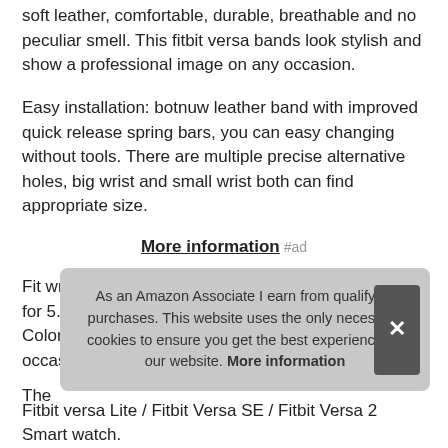soft leather, comfortable, durable, breathable and no peculiar smell. This fitbit versa bands look stylish and show a professional image on any occasion.
Easy installation: botnuw leather band with improved quick release spring bars, you can easy changing without tools. There are multiple precise alternative holes, big wrist and small wrist both can find appropriate size.
More information #ad
Fit wrist size: botnuw leather fitbit versa 2 bands fit for 5. 5"-7.9" 140mm-200mm wrist of women men. Colorful styles: botnuw versa band is suitable for all occasions, multiple colors and
The botnuw Fitbit versa Lite / Fitbit Versa SE / Fitbit Versa 2 Smart watch.
As an Amazon Associate I earn from qualifying purchases. This website uses the only necessary cookies to ensure you get the best experience on our website. More information